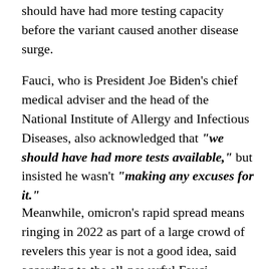should have had more testing capacity before the variant caused another disease surge.
Fauci, who is President Joe Biden's chief medical adviser and the head of the National Institute of Allergy and Infectious Diseases, also acknowledged that "we should have had more tests available," but insisted he wasn't "making any excuses for it."
Meanwhile, omicron's rapid spread means ringing in 2022 as part of a large crowd of revelers this year is not a good idea, said according to the all-powerful Fauci.